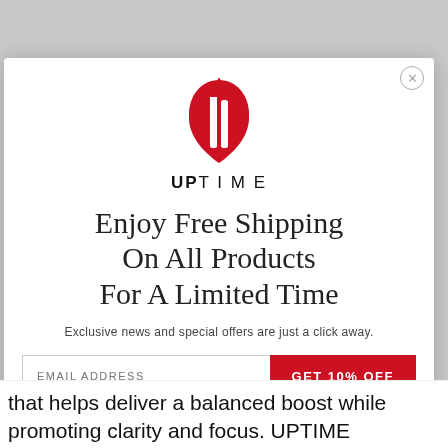[Figure (logo): UPTIME brand logo: red teardrop/shield shape with white vertical stripe and upward arrow, with bold text UPTIME below]
Enjoy Free Shipping On All Products For A Limited Time
Exclusive news and special offers are just a click away.
EMAIL ADDRESS | GET 10% OFF (button)
*By completing this form you are signing up to receive our emails and can unsubscribe at any time.
that helps deliver a balanced boost while promoting clarity and focus. UPTIME